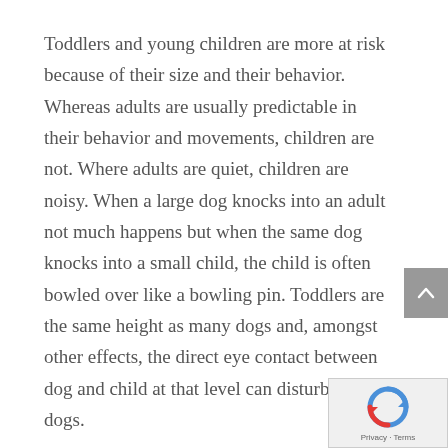Toddlers and young children are more at risk because of their size and their behavior. Whereas adults are usually predictable in their behavior and movements, children are not. Where adults are quiet, children are noisy. When a large dog knocks into an adult not much happens but when the same dog knocks into a small child, the child is often bowled over like a bowling pin. Toddlers are the same height as many dogs and, amongst other effects, the direct eye contact between dog and child at that level can disturb many dogs.